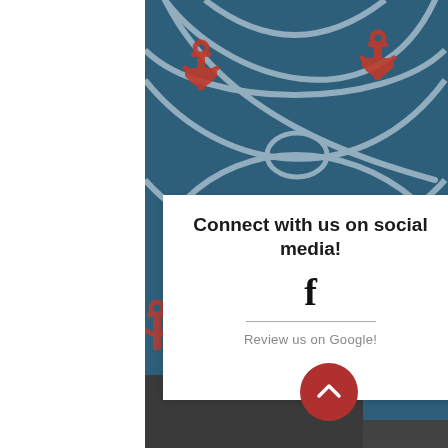[Figure (illustration): Naval/nautical themed background with dark teal/blue color, red anchor icons and white rope pattern forming X shapes across the background]
Connect with us on social media!
[Figure (logo): Facebook 'f' logo icon in black]
Review us on Google!
[Figure (other): Red circular scroll-to-top button with white chevron/arrow pointing upward]
[Figure (photo): Dark photograph strip on right side showing what appears to be military/naval vessels or equipment in a hangar or dock]